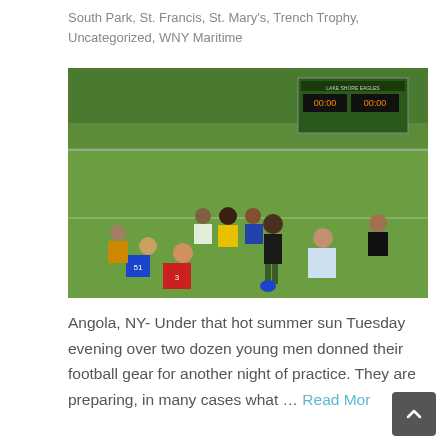South Park, St. Francis, St. Mary's, Trench Trophy, Uncategorized, WNY Maritime
[Figure (photo): Football practice photo showing players and a coach on a green field. A scoreboard reading 'Lake Shore Eagles' is visible in the background. Players are wearing various jerseys including numbers 51 and 3. The coach stands addressing players gathered around him on the grass on a summer evening.]
Angola, NY- Under that hot summer sun Tuesday evening over two dozen young men donned their football gear for another night of practice. They are preparing, in many cases what … Read More